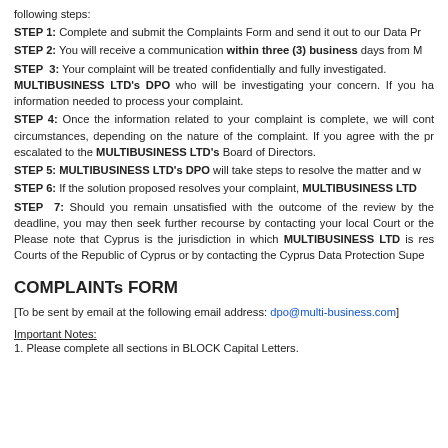following steps:
STEP 1: Complete and submit the Complaints Form and send it out to our Data Pr
STEP 2: You will receive a communication within three (3) business days from M
STEP 3: Your complaint will be treated confidentially and fully investigated. MULTIBUSINESS LTD's DPO who will be investigating your concern. If you ha information needed to process your complaint.
STEP 4: Once the information related to your complaint is complete, we will cont circumstances, depending on the nature of the complaint. If you agree with the pr escalated to the MULTIBUSINESS LTD's Board of Directors.
STEP 5: MULTIBUSINESS LTD's DPO will take steps to resolve the matter and w
STEP 6: If the solution proposed resolves your complaint, MULTIBUSINESS LTD
STEP 7: Should you remain unsatisfied with the outcome of the review by the deadline, you may then seek further recourse by contacting your local Court or the Please note that Cyprus is the jurisdiction in which MULTIBUSINESS LTD is res Courts of the Republic of Cyprus or by contacting the Cyprus Data Protection Supe
COMPLAINTs FORM
[To be sent by email at the following email address: dpo@multi-business.com]
Important Notes:
1. Please complete all sections in BLOCK Capital Letters.